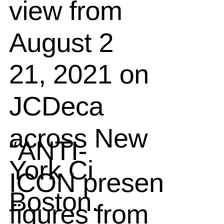view from August 21, 2021 on JCDecaux across New York City, Boston.
“ANTI-ICON presents figures from history who transcended sexist barriers to become recognized the world over as